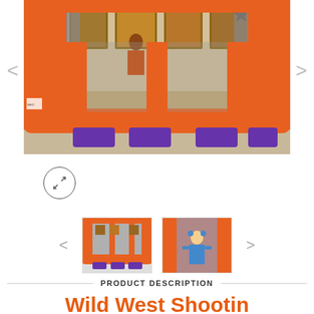[Figure (photo): Main product image of an inflatable bounce house/carnival game unit. Orange inflatable frame with gray mesh netting sides, purple bags/targets at the bottom front, set up indoors with western-themed decorations visible in the background.]
[Figure (photo): Thumbnail 1: Small front-view photo of the orange and gray inflatable carnival game unit with purple accents at the bottom.]
[Figure (photo): Thumbnail 2: Photo of a young girl in a blue outfit standing in front of or inside the orange inflatable carnival game unit.]
PRODUCT DESCRIPTION
Wild West Shootin